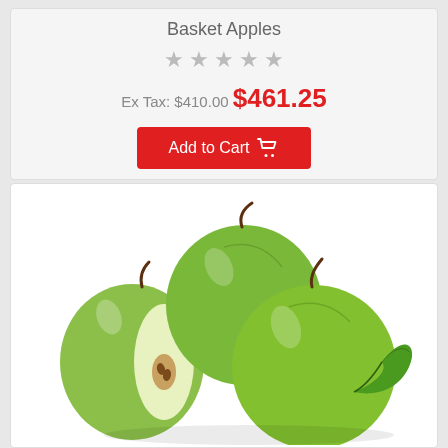Basket Apples
★ ★ ★ ★ ★
Ex Tax: $410.00  $461.25
Add to Cart
[Figure (photo): Green apples product photo — three whole green apples and one apple cut in half showing seeds, with a green leaf, on white background]